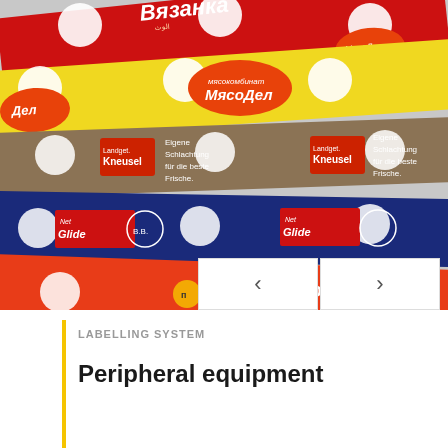[Figure (photo): Close-up photo of various colorful labelling strips/bands used for food products. Multiple branded labels are visible including Вязанка (red, Russian), МясоДел (yellow with orange oval logo), Kneusel (brown/beige, German text: Eigene Schlachtung für die beste Frische.), Net Glide (navy blue), and Пит-Продукт (orange/red). The labels have circular punch-holes along their edges. Navigation arrows (< >) appear at bottom right.]
LABELLING SYSTEM
Peripheral equipment